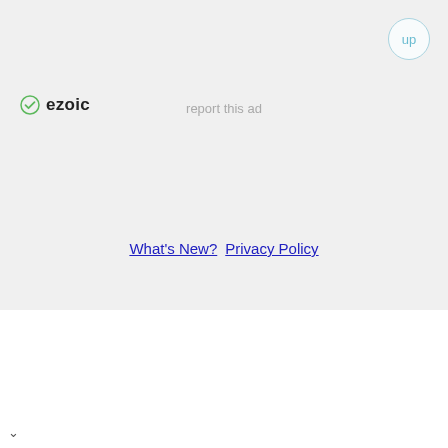[Figure (logo): Ezoic logo with green circle-check icon and bold 'ezoic' text]
report this ad
up
What's New?  Privacy Policy